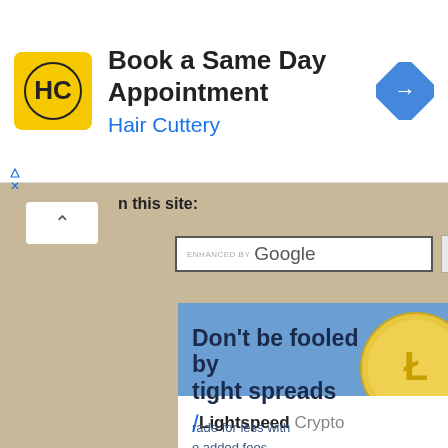[Figure (infographic): Hair Cuttery advertisement banner: yellow HC logo on left, 'Book a Same Day Appointment' headline with 'Hair Cuttery' in blue, blue navigation/map icon on right]
n this site:
[Figure (screenshot): Google search bar with 'ENHANCED BY Google' text and a Search button]
[Figure (infographic): Lightspeed Crypto advertisement: blue background with 'Don't be fooled by tight spreads' headline, 'Trade for less with no added fees' subtext, Bitcoin and Litecoin coin graphics, Lightspeed Crypto logo at bottom]